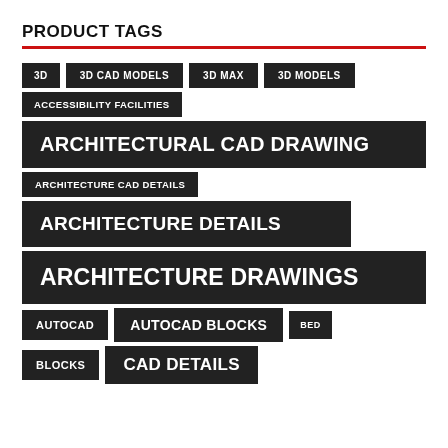PRODUCT TAGS
3D
3D CAD MODELS
3D MAX
3D MODELS
ACCESSIBILITY FACILITIES
ARCHITECTURAL CAD DRAWING
ARCHITECTURE CAD DETAILS
ARCHITECTURE DETAILS
ARCHITECTURE DRAWINGS
AUTOCAD
AUTOCAD BLOCKS
BED
BLOCKS
CAD DETAILS